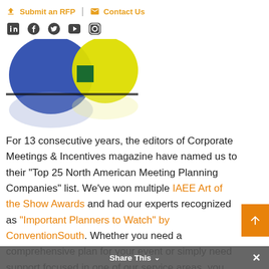Submit an RFP | Contact Us
[Figure (logo): Partial logo graphic with blue and yellow design elements, appears to be a '25' anniversary logo]
For 13 consecutive years, the editors of Corporate Meetings & Incentives magazine have named us to their “Top 25 North American Meeting Planning Companies” list. We’ve won multiple IAEE Art of the Show Awards and had our experts recognized as “Important Planners to Watch” by ConventionSouth. Whether you need a comprehensive plan for your event or simply need support focused in one of our service areas, you attendees will be in
Share This